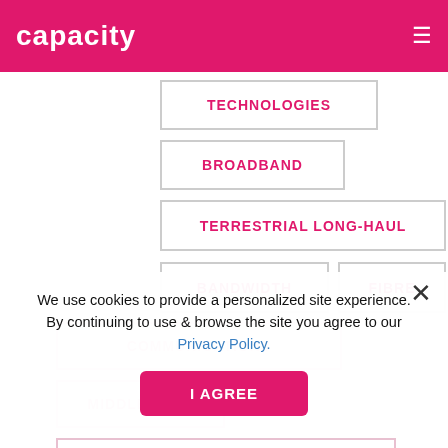capacity
TECHNOLOGIES
BROADBAND
TERRESTRIAL LONG-HAUL
BANDWIDTH
FIBRE
COMMUNICATIONS
MIDDLE EAST
INFRASTRUCTURE AND NETWORKS
We use cookies to provide a personalized site experience. By continuing to use & browse the site you agree to our Privacy Policy.
I AGREE